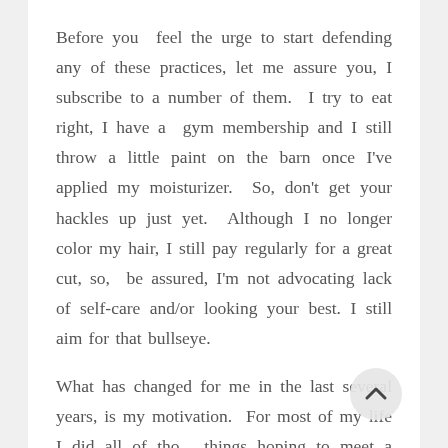Before you feel the urge to start defending any of these practices, let me assure you, I subscribe to a number of them. I try to eat right, I have a gym membership and I still throw a little paint on the barn once I've applied my moisturizer. So, don't get your hackles up just yet. Although I no longer color my hair, I still pay regularly for a great cut, so, be assured, I'm not advocating lack of self-care and/or looking your best. I still aim for that bullseye.
What has changed for me in the last several years, is my motivation. For most of my life I did all of those things hoping to meet a standard that was mostly unattainable. Sadly, that didn't keep me from chasing that rabbit. I'm pretty sure I have been on